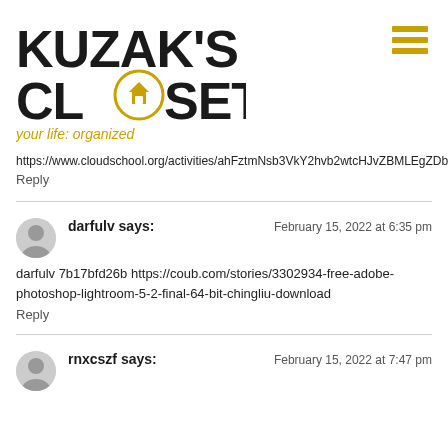[Figure (logo): Kuzak's Closet logo with tagline 'your life: organized' and hamburger menu icon]
https://www.cloudschool.org/activities/ahFztmNsb3VkY2hvb2wtcHJvZBMLEgZDb3Vyc2UYgIDg6JGR...
Reply
darfulv says:
February 15, 2022 at 6:35 pm
darfulv 7b17bfd26b https://coub.com/stories/3302934-free-adobe-photoshop-lightroom-5-2-final-64-bit-chingliu-download
Reply
rnxcszf says:
February 15, 2022 at 7:47 pm